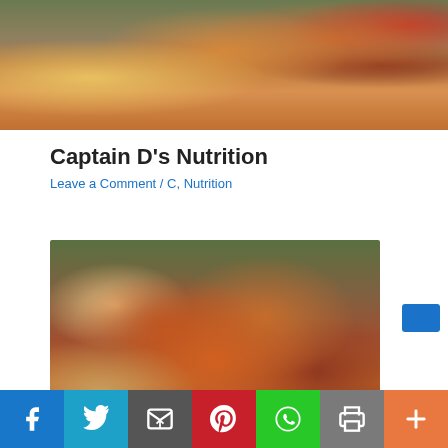[Figure (photo): Photo of fried seafood platter with shrimp, fish, and green vegetables on a plate with a bowl of dipping sauce]
Captain D's Nutrition
Leave a Comment / C, Nutrition
[Figure (photo): Photo of buffalo chicken wings on a plate with celery sticks, dipping sauce, and a glass of beer in the background]
Social sharing bar with Facebook, Twitter, Email, Pinterest, WhatsApp, Print, and More buttons